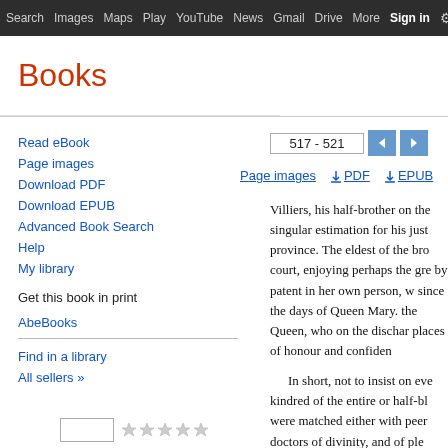Search  Images  Maps  Play  YouTube  News  Gmail  Drive  More  Sign in  (gear icon)
Books
Read eBook
Page images
Download PDF
Download EPUB
Advanced Book Search
Help
My library
Get this book in print
AbeBooks
Find in a library
All sellers »
517 - 521
Page images  ⬇ PDF  ⬇ EPUB
Villiers, his half-brother on the singular estimation for his just province. The eldest of the bro court, enjoying perhaps the gre by patent in her own person, w since the days of Queen Mary. the Queen, who on the dischar places of honour and confiden
In short, not to insist on eve kindred of the entire or half-bl were matched either with peer doctors of divinity, and of ple strengthen, but stood there upo leaned upon him, than shored